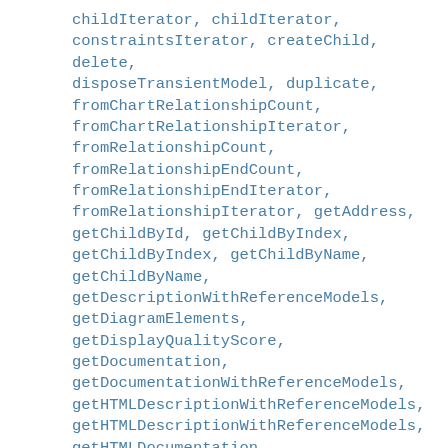childIterator, childIterator, constraintsIterator, createChild, delete, disposeTransientModel, duplicate, fromChartRelationshipCount, fromChartRelationshipIterator, fromRelationshipCount, fromRelationshipEndCount, fromRelationshipEndIterator, fromRelationshipIterator, getAddress, getChildById, getChildByIndex, getChildByIndex, getChildByName, getChildByName, getDescriptionWithReferenceModels, getDiagramElements, getDisplayQualityScore, getDocumentation, getDocumentationWithReferenceModels, getHTMLDescriptionWithReferenceModels, getHTMLDescriptionWithReferenceModels, getHTMLDocumentation, getHTMLDocumentation, getHTMLDocumentationWithReferenceModels, getHTMLDocumentationWithReferenceModels, getId, getMasterView, getMirrorSource, getModelPropertyByName,